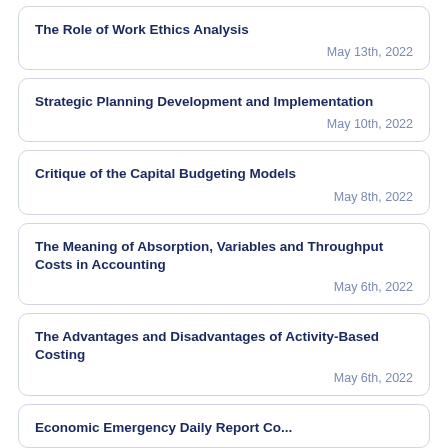The Role of Work Ethics Analysis
May 13th, 2022
Strategic Planning Development and Implementation
May 10th, 2022
Critique of the Capital Budgeting Models
May 8th, 2022
The Meaning of Absorption, Variables and Throughput Costs in Accounting
May 6th, 2022
The Advantages and Disadvantages of Activity-Based Costing
May 6th, 2022
Economic Emergency Daily Report Co...